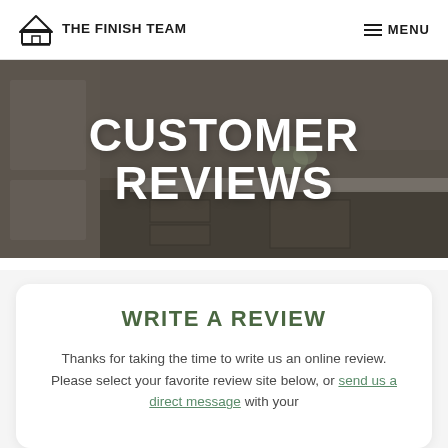THE FINISH TEAM | MENU
[Figure (photo): Bathroom interior with white cabinetry, mirror, and sink, used as a dark-tinted hero background image]
CUSTOMER REVIEWS
WRITE A REVIEW
Thanks for taking the time to write us an online review. Please select your favorite review site below, or send us a direct message with your